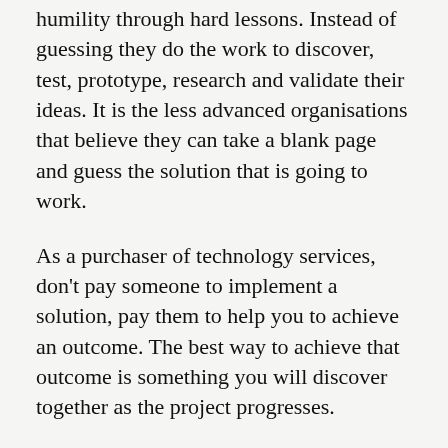humility through hard lessons. Instead of guessing they do the work to discover, test, prototype, research and validate their ideas. It is the less advanced organisations that believe they can take a blank page and guess the solution that is going to work.
As a purchaser of technology services, don't pay someone to implement a solution, pay them to help you to achieve an outcome. The best way to achieve that outcome is something you will discover together as the project progresses.
Myth 2: A project that is con ti...